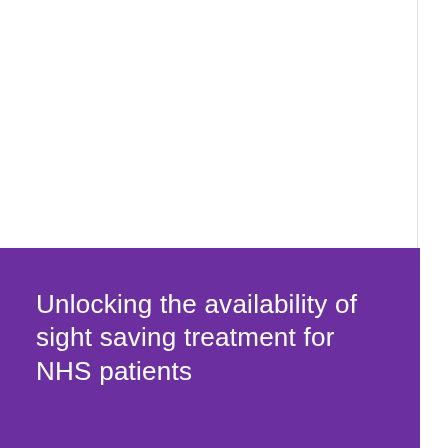Unlocking the availability of sight saving treatment for NHS patients